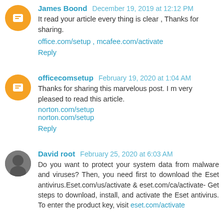James Boond   December 19, 2019 at 12:12 PM
It read your article every thing is clear , Thanks for sharing.
office.com/setup , mcafee.com/activate
Reply
officecomsetup   February 19, 2020 at 1:04 AM
Thanks for sharing this marvelous post. I m very pleased to read this article.
norton.com/setup
norton.com/setup
Reply
David root   February 25, 2020 at 6:03 AM
Do you want to protect your system data from malware and viruses? Then, you need first to download the Eset antivirus.Eset.com/us/activate & eset.com/ca/activate- Get steps to download, install, and activate the Eset antivirus. To enter the product key, visit eset.com/activate